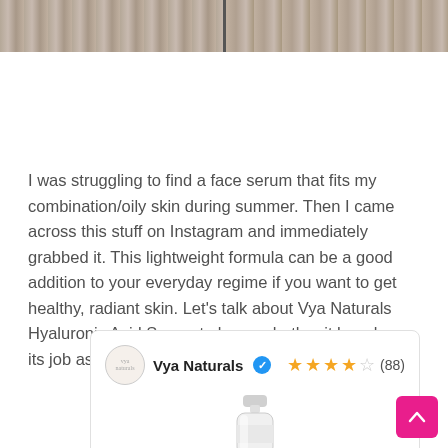[Figure (photo): Partial view of a product photo with wooden background, split into two panels, cropped at top of page]
I was struggling to find a face serum that fits my combination/oily skin during summer. Then I came across this stuff on Instagram and immediately grabbed it. This lightweight formula can be a good addition to your everyday regime if you want to get healthy, radiant skin. Let's talk about Vya Naturals Hyaluronic Acid Serum to know whether it has done its job as I wanted.
[Figure (screenshot): Product widget card showing Vya Naturals brand logo, verified badge, 4.5 star rating (88 reviews), and a serum bottle image]